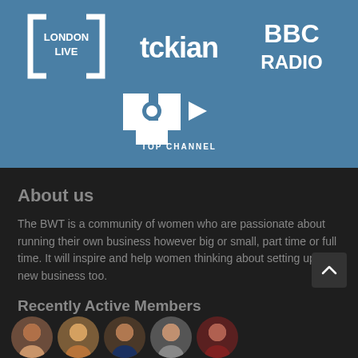[Figure (logo): London Live logo - white square bracket style logo with text LONDON LIVE]
[Figure (logo): Tckian logo - white stylized text logo]
[Figure (logo): BBC Radio logo - white BBC RADIO text]
[Figure (logo): Top Channel logo - white TOP channel logo with circular design and text TOP CHANNEL]
About us
The BWT is a community of women who are passionate about running their own business however big or small, part time or full time. It will inspire and help women thinking about setting up a new business too.
Recently Active Members
[Figure (photo): Row of 5 circular member avatar photos at the bottom of the page]